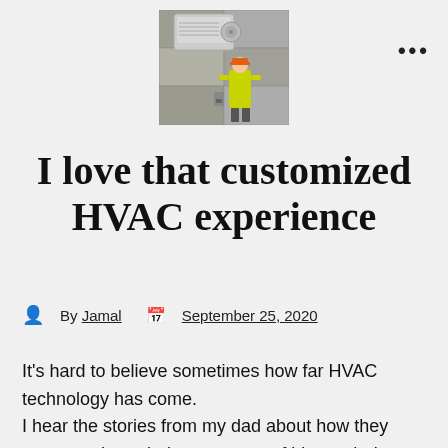[Figure (photo): HVAC technician in yellow vest and orange hard hat working on an air conditioning unit mounted on a concrete wall]
I love that customized HVAC experience
By Jamal   September 25, 2020
It’s hard to believe sometimes how far HVAC technology has come.
I hear the stories from my dad about how they once got through the summers of his youth. It